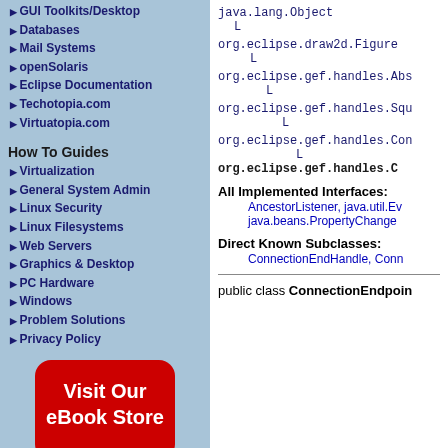GUI Toolkits/Desktop
Databases
Mail Systems
openSolaris
Eclipse Documentation
Techotopia.com
Virtuatopia.com
How To Guides
Virtualization
General System Admin
Linux Security
Linux Filesystems
Web Servers
Graphics & Desktop
PC Hardware
Windows
Problem Solutions
Privacy Policy
[Figure (illustration): Red rounded rectangle button with white text: Visit Our eBook Store]
java.lang.Object
  L

org.eclipse.draw2d.Figure
    L

org.eclipse.gef.handles.Abs
      L

org.eclipse.gef.handles.Squ
        L

org.eclipse.gef.handles.Con
          L
org.eclipse.gef.handles.C
All Implemented Interfaces:
AncestorListener, java.util.Ev
java.beans.PropertyChange
Direct Known Subclasses:
ConnectionEndHandle, Conn
public class ConnectionEndpoin